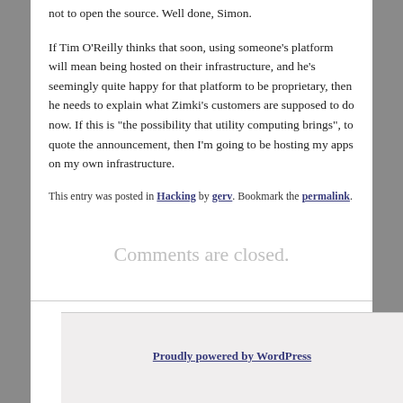not to open the source. Well done, Simon.
If Tim O’Reilly thinks that soon, using someone’s platform will mean being hosted on their infrastructure, and he’s seemingly quite happy for that platform to be proprietary, then he needs to explain what Zimki’s customers are supposed to do now. If this is “the possibility that utility computing brings”, to quote the announcement, then I’m going to be hosting my apps on my own infrastructure.
This entry was posted in Hacking by gerv. Bookmark the permalink.
Comments are closed.
Proudly powered by WordPress